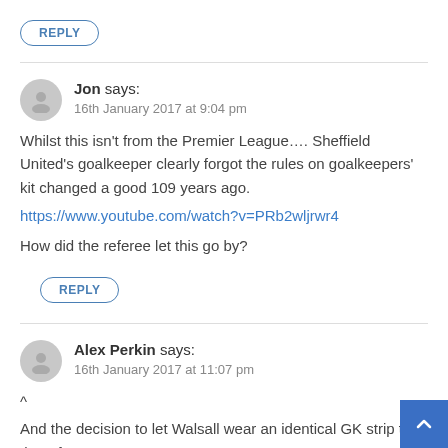REPLY
Jon says:
16th January 2017 at 9:04 pm
Whilst this isn't from the Premier League…. Sheffield United's goalkeeper clearly forgot the rules on goalkeepers' kit changed a good 109 years ago.
https://www.youtube.com/watch?v=PRb2wljrwr4
How did the referee let this go by?
REPLY
Alex Perkin says:
16th January 2017 at 11:07 pm
^
And the decision to let Walsall wear an identical GK strip to that of